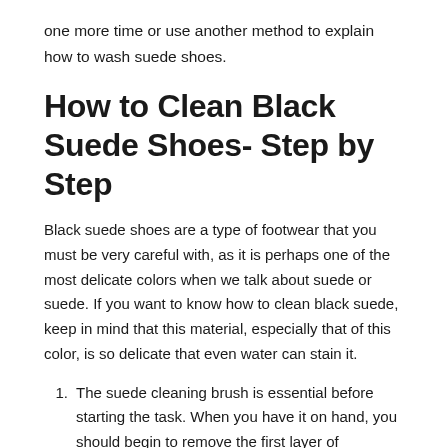one more time or use another method to explain how to wash suede shoes.
How to Clean Black Suede Shoes- Step by Step
Black suede shoes are a type of footwear that you must be very careful with, as it is perhaps one of the most delicate colors when we talk about suede or suede. If you want to know how to clean black suede, keep in mind that this material, especially that of this color, is so delicate that even water can stain it.
The suede cleaning brush is essential before starting the task. When you have it on hand, you should begin to remove the first layer of impurities with a gentle movement not to mistreat the suede.